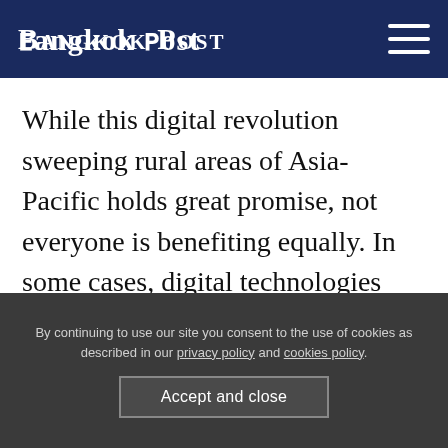Bangkok Post
While this digital revolution sweeping rural areas of Asia-Pacific holds great promise, not everyone is benefiting equally. In some cases, digital technologies can even be disruptive, or lead to unintended consequences by widening, not reducing, the digital divide if their implementations result in a loss of decent work. This needs to be addressed, and it's in everyone's best interests to do so.
By continuing to use our site you consent to the use of cookies as described in our privacy policy and cookies policy.
Accept and close